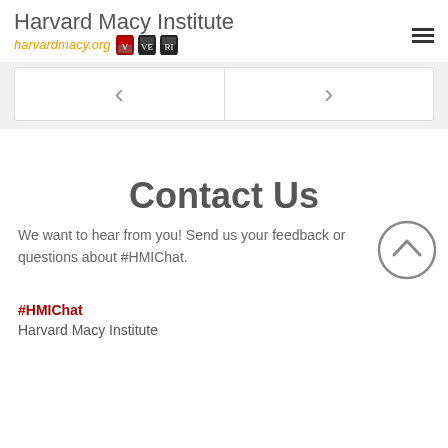Harvard Macy Institute harvardmacy.org
[Figure (screenshot): Navigation slider section with left arrow and right arrow on a light grey background]
Contact Us
We want to hear from you! Send us your feedback or questions about #HMIChat.
#HMIChat
Harvard Macy Institute